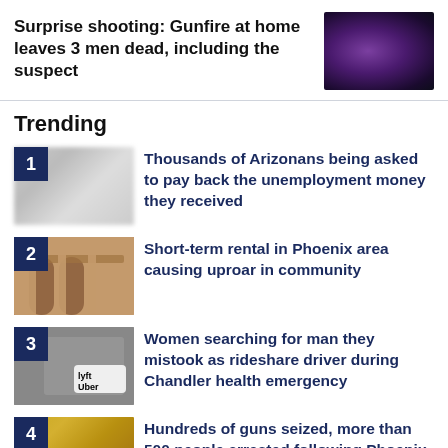Surprise shooting: Gunfire at home leaves 3 men dead, including the suspect
[Figure (photo): Dark purple/blue blurred news image thumbnail]
Trending
1. Thousands of Arizonans being asked to pay back the unemployment money they received
2. Short-term rental in Phoenix area causing uproar in community
3. Women searching for man they mistook as rideshare driver during Chandler health emergency
4. Hundreds of guns seized, more than 500 people arrested following Phoenix